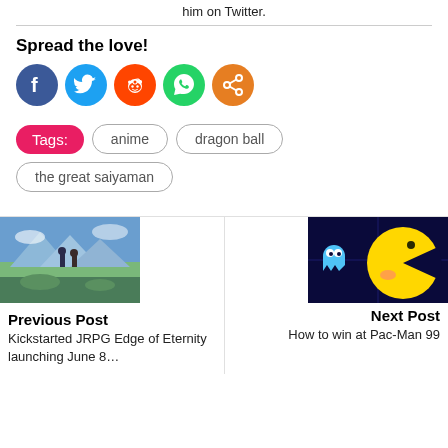him on Twitter.
Spread the love!
[Figure (infographic): Social share icons: Facebook (dark blue), Twitter (light blue), Reddit (orange-red), WhatsApp (green), Share (orange)]
Tags: anime dragon ball the great saiyaman
[Figure (photo): Previous post thumbnail: fantasy JRPG scene with characters in a colorful landscape]
Previous Post
Kickstarted JRPG Edge of Eternity launching June 8…
[Figure (photo): Next post thumbnail: Pac-Man character on dark blue arcade background]
Next Post
How to win at Pac-Man 99